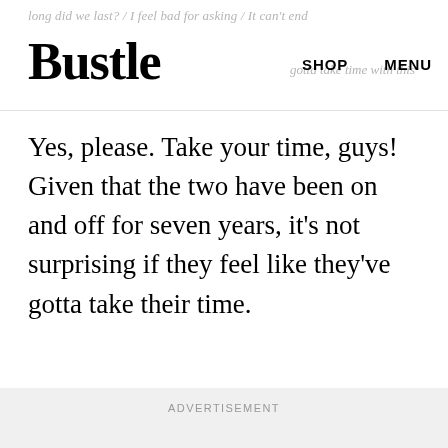long did we last? / I feel bad for asking / It can't end
Bustle
gotta take time with this
SHOP   MENU
Yes, please. Take your time, guys! Given that the two have been on and off for seven years, it's not surprising if they feel like they've gotta take their time.
ADVERTISEMENT